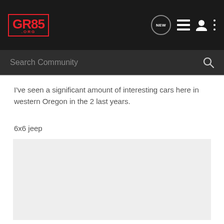GR86.ORG — navigation header with logo, NEW chat icon, list icon, user icon, menu icon
Search Community
I've seen a significant amount of interesting cars here in western Oregon in the 2 last years.
6x6 jeep
[Figure (photo): Light gray placeholder rectangle representing an image of a 6x6 jeep]